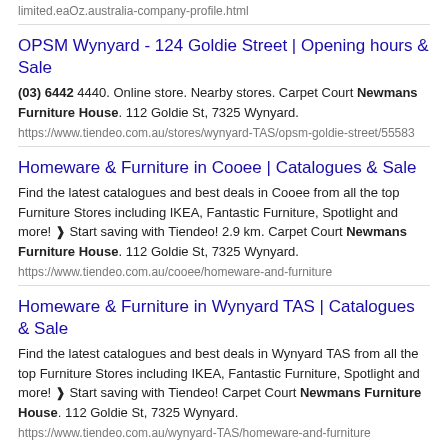limited.eaOz.australia-company-profile.html
OPSM Wynyard - 124 Goldie Street | Opening hours & Sale
(03) 6442 4440. Online store. Nearby stores. Carpet Court Newmans Furniture House. 112 Goldie St, 7325 Wynyard.
https://www.tiendeo.com.au/stores/wynyard-TAS/opsm-goldie-street/55583
Homeware & Furniture in Cooee | Catalogues & Sale
Find the latest catalogues and best deals in Cooee from all the top Furniture Stores including IKEA, Fantastic Furniture, Spotlight and more! ❱ Start saving with Tiendeo! 2.9 km. Carpet Court Newmans Furniture House. 112 Goldie St, 7325 Wynyard.
https://www.tiendeo.com.au/cooee/homeware-and-furniture
Homeware & Furniture in Wynyard TAS | Catalogues & Sale
Find the latest catalogues and best deals in Wynyard TAS from all the top Furniture Stores including IKEA, Fantastic Furniture, Spotlight and more! ❱ Start saving with Tiendeo! Carpet Court Newmans Furniture House. 112 Goldie St, 7325 Wynyard.
https://www.tiendeo.com.au/wynyard-TAS/homeware-and-furniture